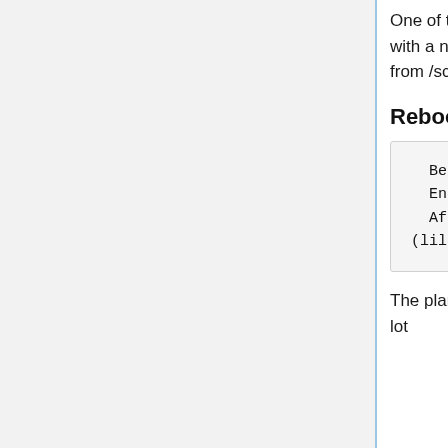One of the mirrored disks failed. We didn't manage to rebuild the raid set with a new disk. The system is reinstalled with two new disks. After that, data from /scratch could be recovered from one of the old disks.
Reboot of login servers after network drive migration
Begin          : 20140605 16:00
  End            : 20140605 ~17:00
  Affected       : Users of e.g. the Linux login servers (lilo2, lilo3, lilo4)
The planned move of network drives from an old to a new server caused a lot